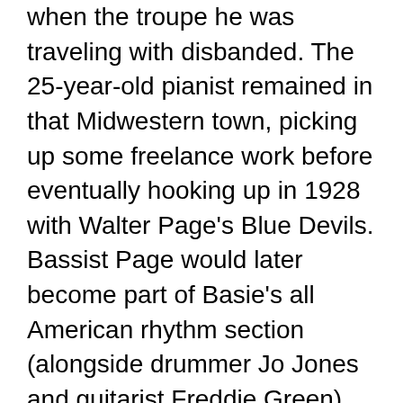when the troupe he was traveling with disbanded. The 25-year-old pianist remained in that Midwestern town, picking up some freelance work before eventually hooking up in 1928 with Walter Page's Blue Devils. Bassist Page would later become part of Basie's all American rhythm section (alongside drummer Jo Jones and guitarist Freddie Green). The singer in Page's Blue Devils band, Jimmy Rushing, would later become a star with the '30s edition of the Count Basie Orchestra. In 1935, after a stint in Bennie Moten's territory band, Basie formed his own nine-piece band (originally called the Barons of Rhythm) with former Moten bandmates Page on bass, Green on guitar, Jones on drums, Lester Young on tenor sax and Rushing on vocals. They were discovered by talent scout and record producer John Hammond, who was able to secure high-profile gigs for the band at the Grand Terrace in Chicago and the Roseland Ballroom in New York. This led to a recording contract with Decca Records in 1937. Their recording of "One O'Clock Jump" later that year was the